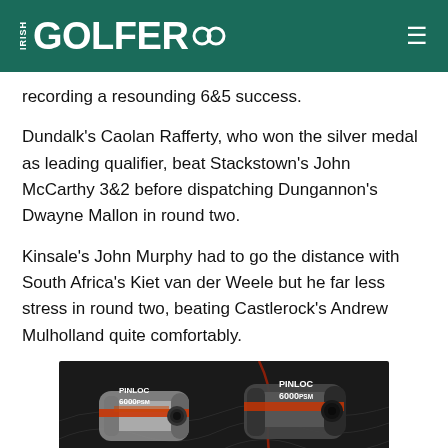IRISH GOLFER
recording a resounding 6&5 success.
Dundalk's Caolan Rafferty, who won the silver medal as leading qualifier, beat Stackstown's John McCarthy 3&2 before dispatching Dungannon's Dwayne Mallon in round two.
Kinsale's John Murphy had to go the distance with South Africa's Kiet van der Weele but he far less stress in round two, beating Castlerock's Andrew Mulholland quite comfortably.
[Figure (photo): Advertisement for Pinloc 6000 PSM rangefinder device on dark background with topographic map lines. Shows two rangefinder devices. Text reads PINLOC 6000 PSM on both sides and large bold text at bottom.]